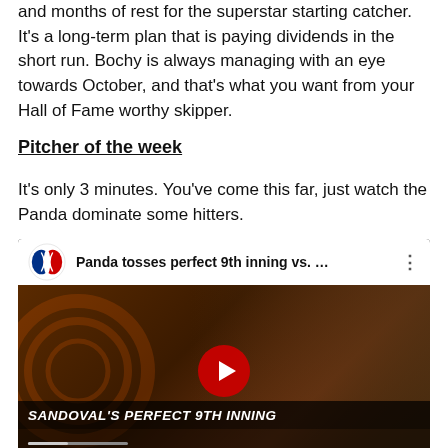and months of rest for the superstar starting catcher. It's a long-term plan that is paying dividends in the short run. Bochy is always managing with an eye towards October, and that's what you want from your Hall of Fame worthy skipper.
Pitcher of the week
It's only 3 minutes. You've come this far, just watch the Panda dominate some hitters.
[Figure (screenshot): YouTube video thumbnail for 'Panda tosses perfect 9th inning vs. ...' showing baseball player (Sandoval) pitching, with MLB logo, play button, and text overlay 'SANDOVAL'S PERFECT 9TH INNING']